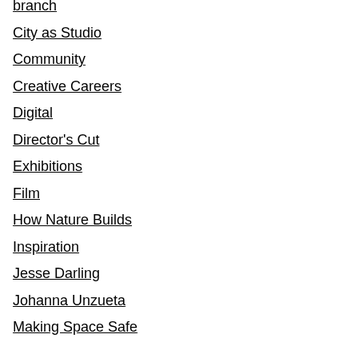branch
City as Studio
Community
Creative Careers
Digital
Director's Cut
Exhibitions
Film
How Nature Builds
Inspiration
Jesse Darling
Johanna Unzueta
Making Space Safe